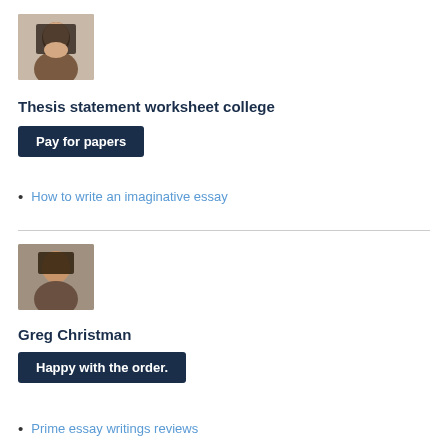[Figure (photo): Portrait photo of a young Asian woman with long dark hair]
Thesis statement worksheet college
Pay for papers
How to write an imaginative essay
[Figure (photo): Portrait photo of a young man with short dark hair]
Greg Christman
Happy with the order.
Prime essay writings reviews